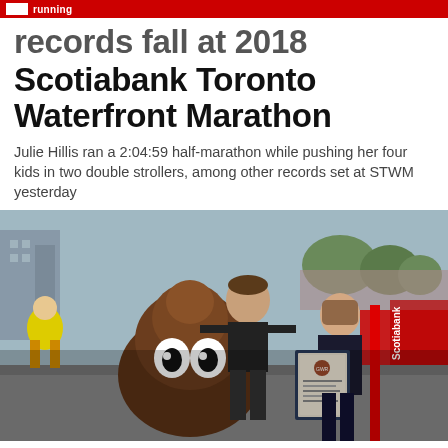records fall at 2018 Scotiabank Toronto Waterfront Marathon
records fall at 2018 Scotiabank Toronto Waterfront Marathon
Julie Hillis ran a 2:04:59 half-marathon while pushing her four kids in two double strollers, among other records set at STWM yesterday
[Figure (photo): A man wearing a poop emoji costume holding a Guinness World Records certificate stands next to a woman in a blazer at the finish line of the Scotiabank Toronto Waterfront Marathon, with spectators and red Scotiabank banners visible in the background.]